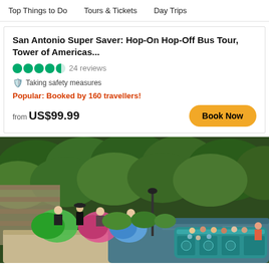Top Things to Do   Tours & Tickets   Day Trips
San Antonio Super Saver: Hop-On Hop-Off Bus Tour, Tower of Americas...
24 reviews
Taking safety measures
Popular: Booked by 160 travellers!
from US$99.99
[Figure (photo): San Antonio River Walk boat tour scene with folklorico dancers in colorful dresses performing on a stage on the left, and a teal river barge filled with tourists on the right, surrounded by lush green trees and stone architecture.]